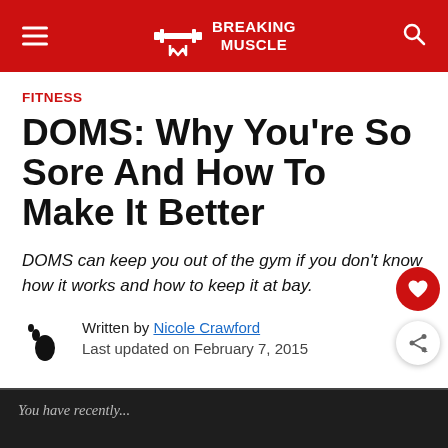Breaking Muscle
FITNESS
DOMS: Why You're So Sore And How To Make It Better
DOMS can keep you out of the gym if you don't know how it works and how to keep it at bay.
Written by Nicole Crawford
Last updated on February 7, 2015